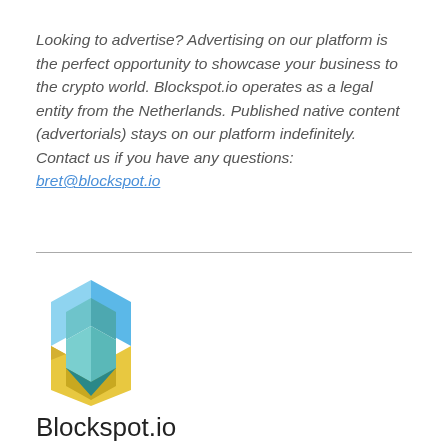Looking to advertise? Advertising on our platform is the perfect opportunity to showcase your business to the crypto world. Blockspot.io operates as a legal entity from the Netherlands. Published native content (advertorials) stays on our platform indefinitely. Contact us if you have any questions: bret@blockspot.io
[Figure (logo): Blockspot.io hexagon logo in blue and yellow/green colors]
Blockspot.io